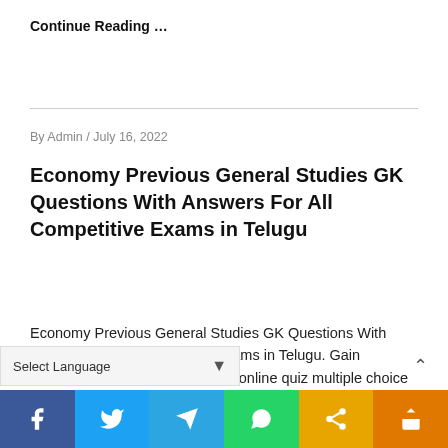Continue Reading …
By Admin / July 16, 2022
Economy Previous General Studies GK Questions With Answers For All Competitive Exams in Telugu
Economy Previous General Studies GK Questions With Answers For All Competitive Exams in Telugu. Gain knowledge by answering simple online quiz multiple choice questions (mcq bits) on Economy . This quiz can help to crac